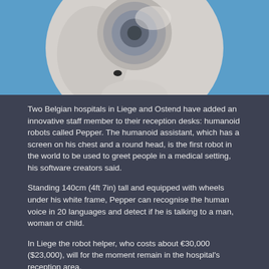[Figure (photo): Close-up photo of Pepper the humanoid robot with round white head and smooth curved body against a blue background]
Two Belgian hospitals in Liege and Ostend have added an innovative staff member to their reception desks: humanoid robots called Pepper. The humanoid assistant, which has a screen on his chest and a round head, is the first robot in the world to be used to greet people in a medical setting, his software creators said.
Standing 140cm (4ft 7in) tall and equipped with wheels under his white frame, Pepper can recognise the human voice in 20 languages and detect if he is talking to a man, woman or child.
In Liege the robot helper, who costs about €30,000 ($23,000), will for the moment remain in the hospital's reception area.
But at the AZ Damiaan hospital in Ostend, he can accompany visitors to the department they are looking for, said Raphaël Tassart of the Belgian firm Zora Bots which developed the software inside his robot brain.